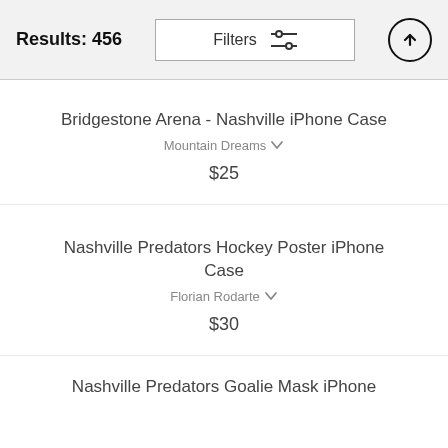Results: 456
Bridgestone Arena - Nashville iPhone Case
Mountain Dreams
$25
Nashville Predators Hockey Poster iPhone Case
Florian Rodarte
$30
Nashville Predators Goalie Mask iPhone